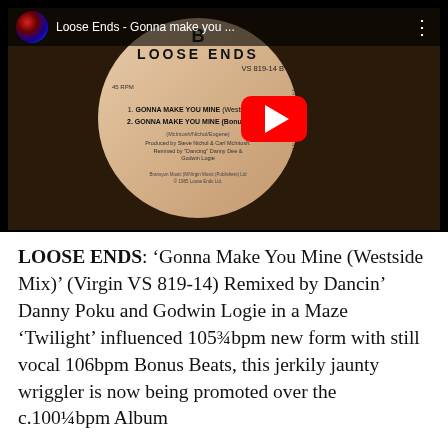[Figure (screenshot): YouTube video thumbnail showing a vinyl record label for Loose Ends 'Gonna Make You Mine' (Virgin VS 819-14 B), with YouTube overlay bar showing title 'Loose Ends - Gonna Make you ...' and a red YouTube play button centered on the image.]
LOOSE ENDS: 'Gonna Make You Mine (Westside Mix)' (Virgin VS 819-14) Remixed by Dancin' Danny Poku and Godwin Logie in a Maze 'Twilight' influenced 105¾bpm new form with still vocal 106bpm Bonus Beats, this jerkily jaunty wriggler is now being promoted over the c.100¼bpm Album